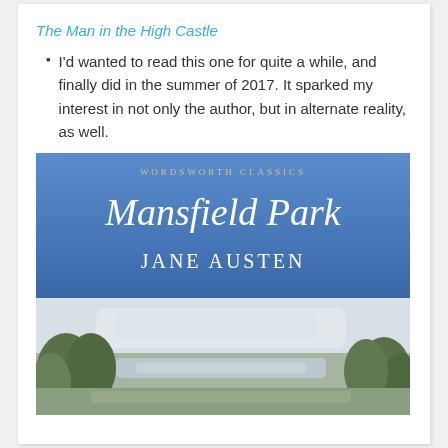The Man in the High Castle
I'd wanted to read this one for quite a while, and finally did in the summer of 2017. It sparked my interest in not only the author, but in alternate reality, as well.
[Figure (photo): Book cover of Mansfield Park by Jane Austen, Wordsworth Classics edition. Blue upper portion with title in italic white serif font and author name in white capitals. Lower portion shows a pastoral painting with trees and misty landscape.]